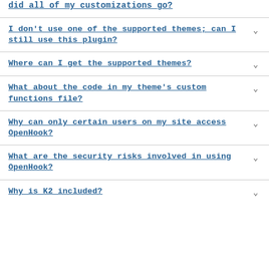did all of my customizations go?
I don't use one of the supported themes; can I still use this plugin?
Where can I get the supported themes?
What about the code in my theme's custom functions file?
Why can only certain users on my site access OpenHook?
What are the security risks involved in using OpenHook?
Why is K2 included?